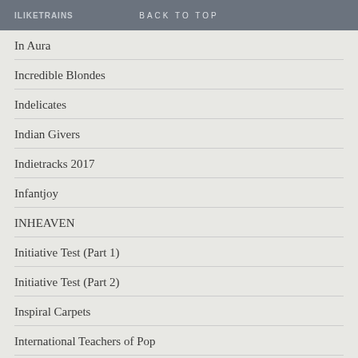ILIKETRAINS  BACK TO TOP
In Aura
Incredible Blondes
Indelicates
Indian Givers
Indietracks 2017
Infantjoy
INHEAVEN
Initiative Test (Part 1)
Initiative Test (Part 2)
Inspiral Carpets
International Teachers of Pop
Interpol
Iain Webb...